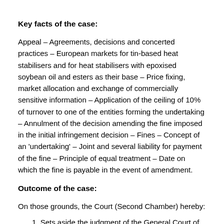Key facts of the case:
Appeal – Agreements, decisions and concerted practices – European markets for tin-based heat stabilisers and for heat stabilisers with epoxised soybean oil and esters as their base – Price fixing, market allocation and exchange of commercially sensitive information – Application of the ceiling of 10% of turnover to one of the entities forming the undertaking – Annulment of the decision amending the fine imposed in the initial infringement decision – Fines – Concept of an 'undertaking' – Joint and several liability for payment of the fine – Principle of equal treatment – Date on which the fine is payable in the event of amendment.
Outcome of the case:
On those grounds, the Court (Second Chamber) hereby:
1. Sets aside the judgment of the General Court of the